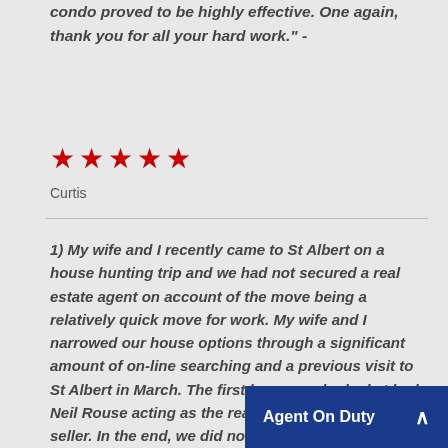condo proved to be highly effective. One again, thank you for all your hard work." -
[Figure (other): Five red star rating icons]
Curtis
1) My wife and I recently came to St Albert on a house hunting trip and we had not secured a real estate agent on account of the move being a relatively quick move for work. My wife and I narrowed our house options through a significant amount of on-line searching and a previous visit to St Albert in March. The first house we looked at had Neil Rouse acting as the real estate agent for the seller. In the end, we did not purch... to school...
Agent On Duty